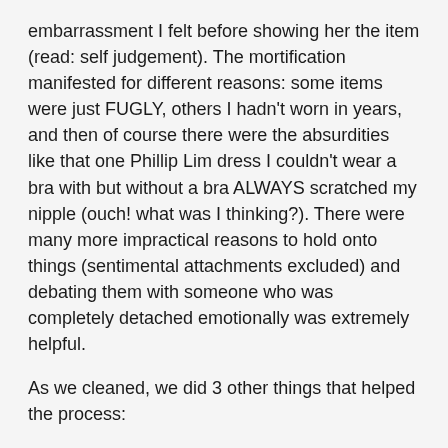embarrassment I felt before showing her the item (read: self judgement). The mortification manifested for different reasons: some items were just FUGLY, others I hadn't worn in years, and then of course there were the absurdities like that one Phillip Lim dress I couldn't wear a bra with but without a bra ALWAYS scratched my nipple (ouch! what was I thinking?). There were many more impractical reasons to hold onto things (sentimental attachments excluded) and debating them with someone who was completely detached emotionally was extremely helpful.
As we cleaned, we did 3 other things that helped the process:
1. Piles were separated into: fix (ex: jeans that needed to be shortened, boots that needed repair, etc.), giveaways to friends/family, donations and sell.